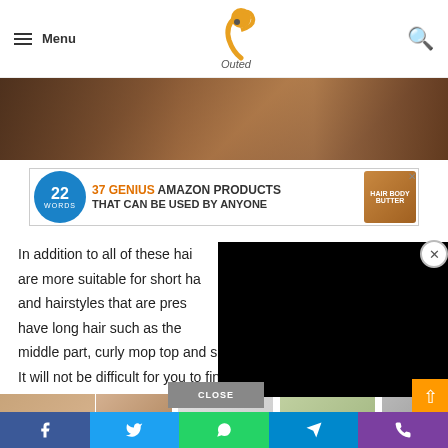Menu | Outed [logo] [search icon]
[Figure (photo): Close-up photo of hair/person in warm brown tones]
[Figure (infographic): Ad banner: 37 GENIUS AMAZON PRODUCTS THAT CAN BE USED BY ANYONE with 22 Words logo and product image]
In addition to all of these hairstyles that are more suitable for short hair and hairstyles that are present for those who have long hair such as the middle part, curly mop top and shoulder length haircut. It will not be difficult for you to find a sui[table] hair[style]
[Figure (screenshot): Black video player overlay covering right portion of article text]
[Figure (photo): Row of thumbnail images at bottom of article]